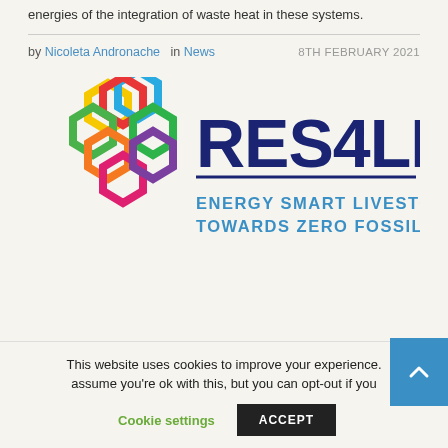energies of the integration of waste heat in these systems.
by Nicoleta Andronache  in News   8TH FEBRUARY 2021
[Figure (logo): RES4LIVE logo with colorful hexagons and text: ENERGY SMART LIVESTOCK FARMING TOWARDS ZERO FOSSIL FUEL CONSUMPTION]
This website uses cookies to improve your experience. assume you're ok with this, but you can opt-out if you
Cookie settings  ACCEPT